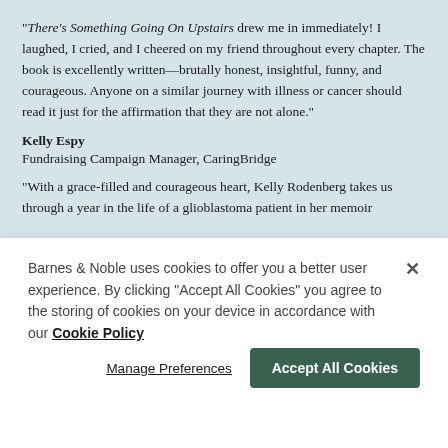"There's Something Going On Upstairs drew me in immediately! I laughed, I cried, and I cheered on my friend throughout every chapter. The book is excellently written—brutally honest, insightful, funny, and courageous. Anyone on a similar journey with illness or cancer should read it just for the affirmation that they are not alone."
Kelly Espy
Fundraising Campaign Manager, CaringBridge
"With a grace-filled and courageous heart, Kelly Rodenberg takes us through a year in the life of a glioblastoma patient in her memoir
Barnes & Noble uses cookies to offer you a better user experience. By clicking "Accept All Cookies" you agree to the storing of cookies on your device in accordance with our Cookie Policy
Manage Preferences
Accept All Cookies